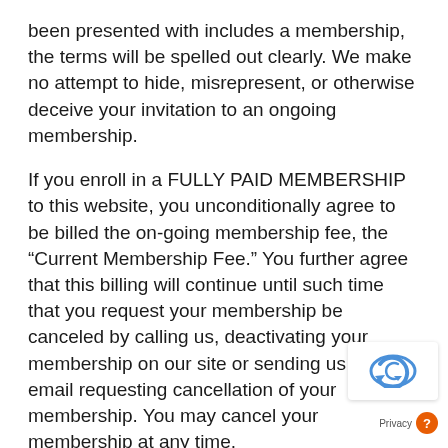been presented with includes a membership, the terms will be spelled out clearly. We make no attempt to hide, misrepresent, or otherwise deceive your invitation to an ongoing membership.
If you enroll in a FULLY PAID MEMBERSHIP to this website, you unconditionally agree to be billed the on-going membership fee, the “Current Membership Fee.” You further agree that this billing will continue until such time that you request your membership be canceled by calling us, deactivating your membership on our site or sending us an email requesting cancellation of your membership. You may cancel your membership at any time.
CANCELLATION POLICY
You can cancel at any point in your membersh... Your membership will end and you will not be b... for any membership fees moving forward. You can